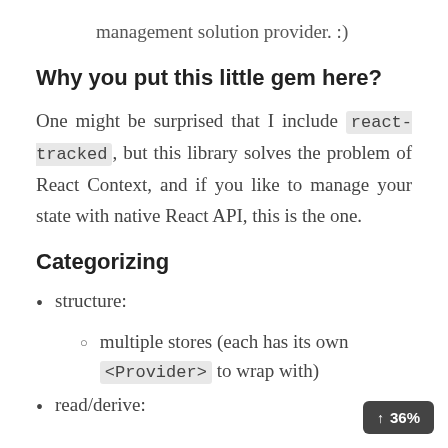management solution provider. :)
Why you put this little gem here?
One might be surprised that I include react-tracked, but this library solves the problem of React Context, and if you like to manage your state with native React API, this is the one.
Categorizing
structure:
multiple stores (each has its own <Provider> to wrap with)
read/derive: